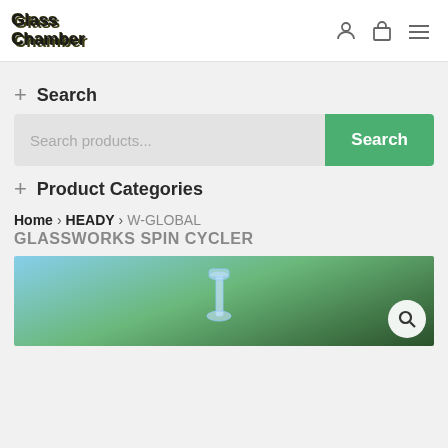Glass Chamber
+ Search
Search products...
+ Product Categories
Home › HEADY › W-GLOBAL GLASSWORKS SPIN CYCLER
W-GLOBAL GLASSWORKS SPIN CYCLER
[Figure (photo): Product photo of a glass piece (Spin Cycler) with trees and blue sky in background, with a magnifier search icon in the bottom right corner.]